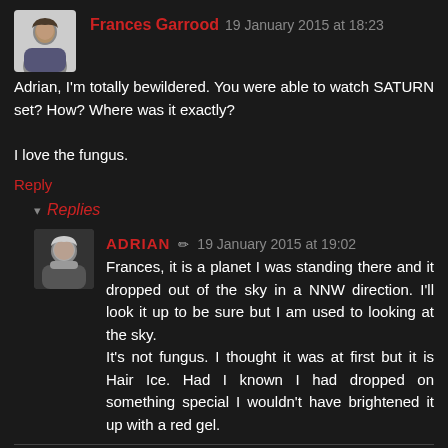Frances Garrood 19 January 2015 at 18:23
Adrian, I'm totally bewildered. You were able to watch SATURN set? How? Where was it exactly?

I love the fungus.
Reply
Replies
ADRIAN ✏ 19 January 2015 at 19:02
Frances, it is a planet I was standing there and it dropped out of the sky in a NNW direction. I'll look it up to be sure but I am used to looking at the sky.
It's not fungus. I thought it was at first but it is Hair Ice. Had I known I had dropped on something special I wouldn't have brightened it up with a red gel.
Reply